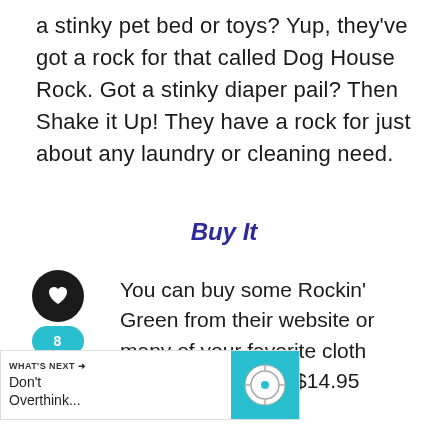a stinky pet bed or toys? Yup, they've got a rock for that called Dog House Rock. Got a stinky diaper pail? Then Shake it Up! They have a rock for just about any laundry or cleaning need.
Buy It
You can buy some Rockin' Green from their website or many of your favorite cloth diaper retailers for $14.95